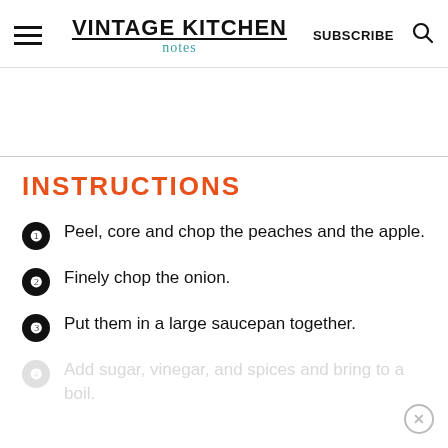VINTAGE KITCHEN notes | SUBSCRIBE | Search
INSTRUCTIONS
Peel, core and chop the peaches and the apple.
Finely chop the onion.
Put them in a large saucepan together.
Add sugar, vinegar, and spices and bring to a boil.